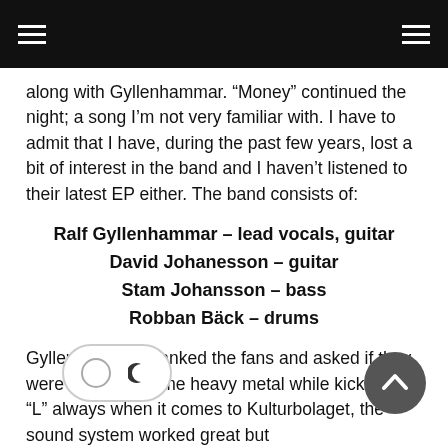along with Gyllenhammar. “Money” continued the night; a song I’m not very familiar with. I have to admit that I have, during the past few years, lost a bit of interest in the band and I haven’t listened to their latest EP either. The band consists of:
Ralf Gyllenhammar – lead vocals, guitar
David Johanesson – guitar
Stam Johansson – bass
Robban Bäck – drums
Gyllenhammar thanked the fans and asked if they were ready for some heavy metal while kicking into “L” always when it comes to Kulturbolaget, the sound system worked great but